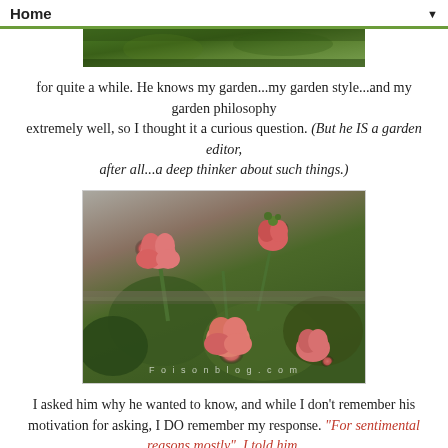Home ▼
[Figure (photo): Partial photo of garden greenery at top of page]
for quite a while. He knows my garden...my garden style...and my garden philosophy extremely well, so I thought it a curious question. (But he IS a garden editor, after all...a deep thinker about such things.)
[Figure (photo): Close-up photo of pink/red geranium flowers with green foliage and stone background, watermark text visible]
I asked him why he wanted to know, and while I don't remember his motivation for asking, I DO remember my response. "For sentimental reasons mostly", I told him.
My mother grew them every summer. She would pot them up with the